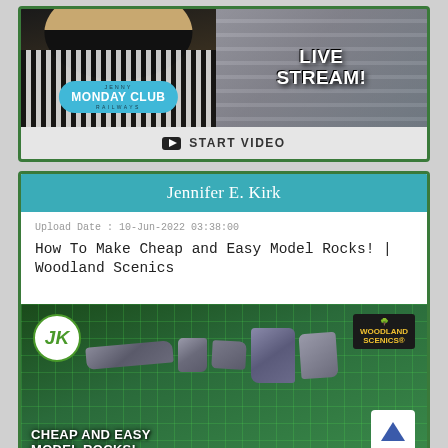[Figure (screenshot): Monday Club Railways Live Stream video thumbnail showing a person in a striped top on the left and shelving/products on the right]
▶ START VIDEO
Jennifer E. Kirk
Upload Date : 10-Jun-2022 03:38:00
How To Make Cheap and Easy Model Rocks! | Woodland Scenics
[Figure (screenshot): Video thumbnail for How To Make Cheap and Easy Model Rocks! | Woodland Scenics, showing model rocks on a green cutting mat with JK logo and Woodland Scenics branding]